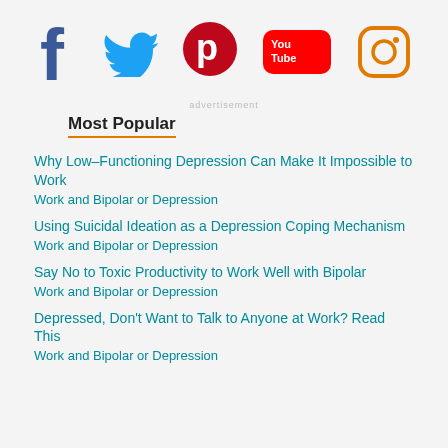[Figure (other): Social media icons: Facebook, Twitter, Pinterest, YouTube, Instagram]
advertisement
Most Popular
Why Low-Functioning Depression Can Make It Impossible to Work
Work and Bipolar or Depression
Using Suicidal Ideation as a Depression Coping Mechanism
Work and Bipolar or Depression
Say No to Toxic Productivity to Work Well with Bipolar
Work and Bipolar or Depression
Depressed, Don't Want to Talk to Anyone at Work? Read This
Work and Bipolar or Depression